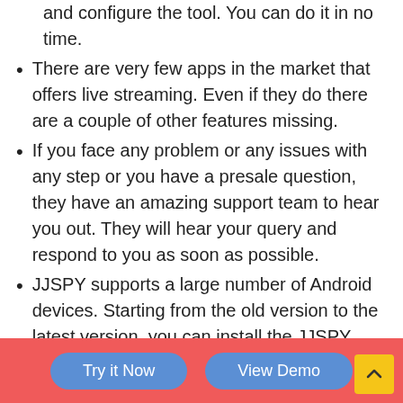As seen in the step by step guide, it is very easy to set up and configure the tool. You can do it in no time.
There are very few apps in the market that offers live streaming. Even if they do there are a couple of other features missing.
If you face any problem or any issues with any step or you have a presale question, they have an amazing support team to hear you out. They will hear your query and respond to you as soon as possible.
JJSPY supports a large number of Android devices. Starting from the old version to the latest version, you can install the JJSPY APK and hack Android phones.
JJSPY's website is responsive. Hence, you can monitor the Android phone from your mobile too.
You don't need any technical knowledge like you hack Android phone with Kali Linux
Try it Now | View Demo